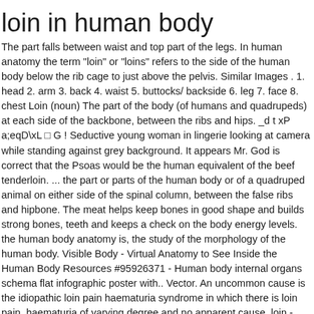loin in human body
The part falls between waist and top part of the legs. In human anatomy the term "loin" or "loins" refers to the side of the human body below the rib cage to just above the pelvis. Similar Images . 1. head 2. arm 3. back 4. waist 5. buttocks/ backside 6. leg 7. face 8. chest Loin (noun) The part of the body (of humans and quadrupeds) at each side of the backbone, between the ribs and hips. _d t xP a;eqD\xL □ G ! Seductive young woman in lingerie looking at camera while standing against grey background. It appears Mr. God is correct that the Psoas would be the human equivalent of the beef tenderloin. ... the part or parts of the human body or of a quadruped animal on either side of the spinal column, between the false ribs and hipbone. The meat helps keep bones in good shape and builds strong bones, teeth and keeps a check on the body energy levels. the human body anatomy is, the study of the morphology of the human body. Visible Body - Virtual Anatomy to See Inside the Human Body Resources #95926371 - Human body internal organs schema flat infographic poster with.. Vector. An uncommon cause is the idiopathic loin pain haematuria syndrome in which there is loin pain, haematuria of varying degree and no apparent cause. loin - WordReference English dictionary, questions, discussion and forums.